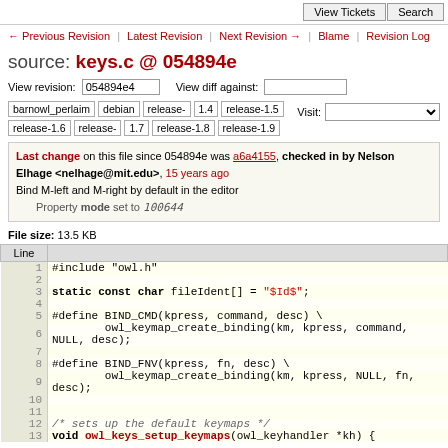View Tickets | Search
← Previous Revision | Latest Revision | Next Revision → | Blame | Revision Log
source: keys.c @ 054894e
View revision: 054894e4   View diff against:
barnowl_perlaim  debian  release-1.4  release-1.5  release-1.6  release-1.7  release-1.8  release-1.9   Visit:
Last change on this file since 054894e was a6a4155, checked in by Nelson Elhage <nelhage@mit.edu>, 15 years ago
Bind M-left and M-right by default in the editor
Property mode set to 100644
File size: 13.5 KB
| Line |  |
| --- | --- |
| 1 | #include "owl.h" |
| 2 |  |
| 3 | static const char fileIdent[] = "$Id$"; |
| 4 |  |
| 5 | #define BIND_CMD(kpress, command, desc) \ |
| 6 |         owl_keymap_create_binding(km, kpress, command, NULL, desc); |
| 7 |  |
| 8 | #define BIND_FNV(kpress, fn, desc) \ |
| 9 |         owl_keymap_create_binding(km, kpress, NULL, fn, desc); |
| 10 |  |
| 11 |  |
| 12 | /* sets up the default keymaps */ |
| 13 | void owl_keys_setup_keymaps(owl_keyhandler *kh) { |